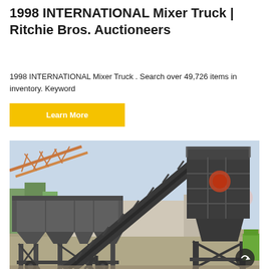1998 INTERNATIONAL Mixer Truck | Ritchie Bros. Auctioneers
1998 INTERNATIONAL Mixer Truck . Search over 49,726 items in inventory. Keyword
Learn More
[Figure (photo): Outdoor photograph of a large industrial concrete mixing plant / conveyor system on a construction site. The machine features a large hopper/bin structure on the left, a diagonal conveyor belt leading up to a dark grey mixing tower on the right. A crane structure is visible in the background on the left. Trees are visible in the background, sky is light blue. A green machine is visible on the right edge. A circular arrow button is visible in the lower right corner of the image.]